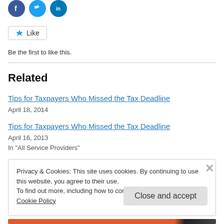[Figure (other): Social share icons: Facebook (blue circle with F), Twitter (blue circle with bird), LinkedIn (blue circle with in)]
[Figure (other): Like button with star icon]
Be the first to like this.
Related
Tips for Taxpayers Who Missed the Tax Deadline
April 18, 2014
Tips for Taxpayers Who Missed the Tax Deadline
April 16, 2013
In "All Service Providers"
Privacy & Cookies: This site uses cookies. By continuing to use this website, you agree to their use.
To find out more, including how to control cookies, see here: Cookie Policy
Close and accept